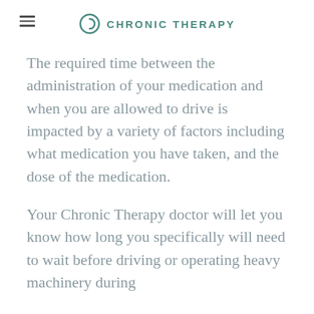CHRONIC THERAPY
The required time between the administration of your medication and when you are allowed to drive is impacted by a variety of factors including what medication you have taken, and the dose of the medication.
Your Chronic Therapy doctor will let you know how long you specifically will need to wait before driving or operating heavy machinery during